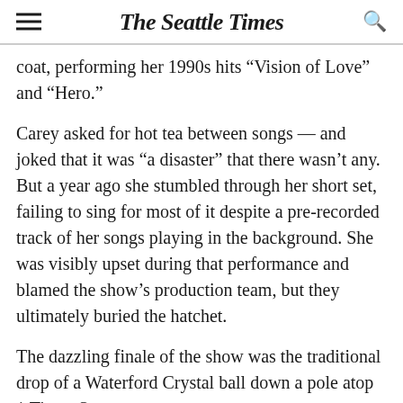The Seattle Times
coat, performing her 1990s hits “Vision of Love” and “Hero.”
Carey asked for hot tea between songs — and joked that it was “a disaster” that there wasn’t any. But a year ago she stumbled through her short set, failing to sing for most of it despite a pre-recorded track of her songs playing in the background. She was visibly upset during that performance and blamed the show’s production team, but they ultimately buried the hatchet.
The dazzling finale of the show was the traditional drop of a Waterford Crystal ball down a pole atop 1 Times Square.